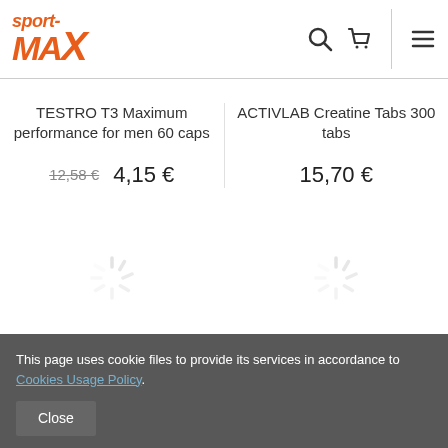[Figure (logo): Sport-MAX logo in orange italic bold text]
TESTRO T3 Maximum performance for men 60 caps
12,58 € 4,15 €
ACTIVLAB Creatine Tabs 300 tabs
15,70 €
[Figure (illustration): Loading spinner icon (left)]
[Figure (illustration): Loading spinner icon (right)]
This page uses cookie files to provide its services in accordance to Cookies Usage Policy.
Close